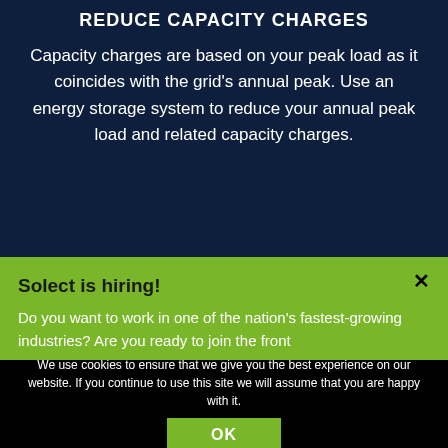REDUCE CAPACITY CHARGES
Capacity charges are based on your peak load as it coincides with the grid's annual peak. Use an energy storage system to reduce your annual peak load and related capacity charges.
Solect is hiring!
Do you want to work in one of the nation’s fastest-growing industries? Are you ready to join the front
We use cookies to ensure that we give you the best experience on our website. If you continue to use this site we will assume that you are happy with it.